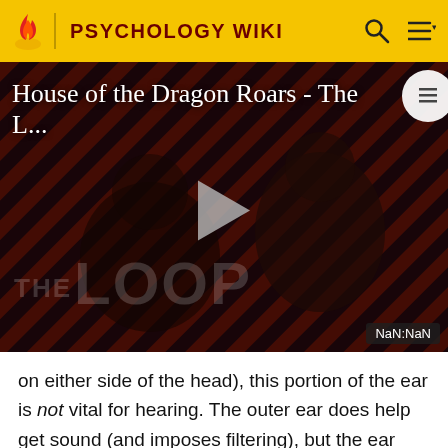PSYCHOLOGY WIKI
[Figure (screenshot): Video player thumbnail showing 'House of the Dragon Roars - The L...' with THE LOOP branding, dark diagonal striped background, silhouetted figures, play button, and NaN:NaN time display]
on either side of the head), this portion of the ear is not vital for hearing. The outer ear does help get sound (and imposes filtering), but the ear canal is very important. Unless the canal is open, hearing will be dampened. Ear wax (medical name - cerumen) is produced by glands in